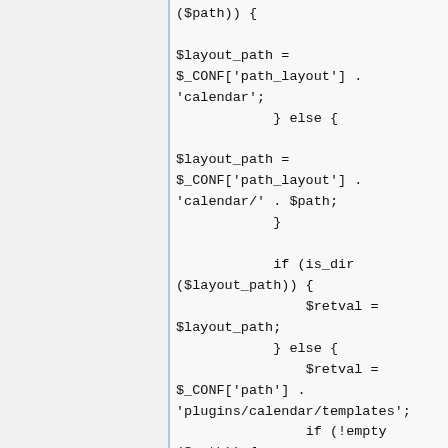($path)) {

$layout_path =
$_CONF['path_layout'] .
'calendar';
            } else {

$layout_path =
$_CONF['path_layout'] .
'calendar/' . $path;
            }

            if (is_dir
($layout_path)) {
                $retval =
$layout_path;
            } else {
                $retval =
$_CONF['path'] .
'plugins/calendar/templates';
                if (!empty
($path)) {

$retval .= '/' . $path;
            }